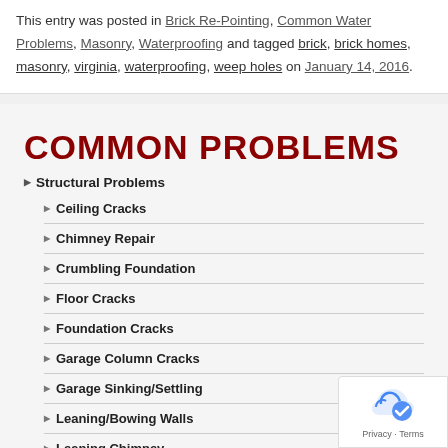This entry was posted in Brick Re-Pointing, Common Water Problems, Masonry, Waterproofing and tagged brick, brick homes, masonry, virginia, waterproofing, weep holes on January 14, 2016.
COMMON PROBLEMS
Structural Problems
Ceiling Cracks
Chimney Repair
Crumbling Foundation
Floor Cracks
Foundation Cracks
Garage Column Cracks
Garage Sinking/Settling
Leaning/Bowing Walls
Leaning Chimney
Sinking Foundation